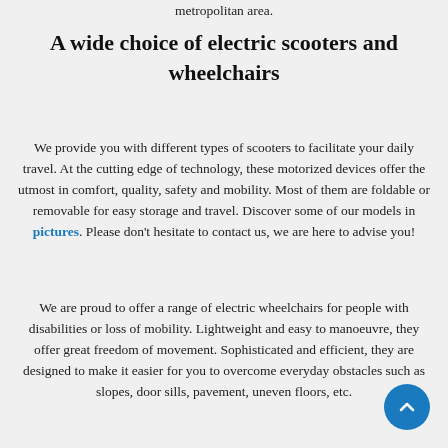metropolitan area.
A wide choice of electric scooters and wheelchairs
We provide you with different types of scooters to facilitate your daily travel. At the cutting edge of technology, these motorized devices offer the utmost in comfort, quality, safety and mobility. Most of them are foldable or removable for easy storage and travel. Discover some of our models in pictures. Please don't hesitate to contact us, we are here to advise you!
We are proud to offer a range of electric wheelchairs for people with disabilities or loss of mobility. Lightweight and easy to manoeuvre, they offer great freedom of movement. Sophisticated and efficient, they are designed to make it easier for you to overcome everyday obstacles such as slopes, door sills, pavement, uneven floors, etc.